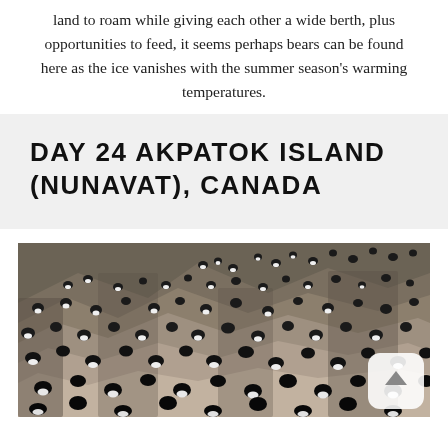land to roam while giving each other a wide berth, plus opportunities to feed, it seems perhaps bears can be found here as the ice vanishes with the summer season's warming temperatures.
DAY 24 AKPATOK ISLAND (NUNAVAT), CANADA
[Figure (photo): Photograph of numerous black and white seabirds (murres/guillemots) perched on rocky cliff ledges at Akpatok Island]